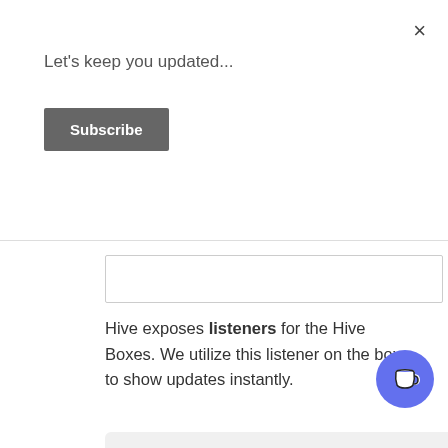×
Let's keep you updated...
Subscribe
Hive exposes listeners for the Hive Boxes. We utilize this listener on the box to show updates instantly.
final _searchBox = Hive.box<CachedSearches>('searches');
// FROM ABOVE
Box<CachedSearches> get cacheSearchBox => _searchBox;
cacheSearchBox.listenable(...)